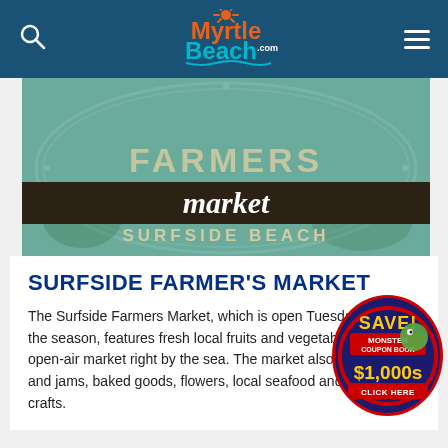MyrtleBeach.com
[Figure (illustration): Farmers market circular logo sign with teal/green background showing 'FARMERS market SURFSIDE BEACH' text with vegetables illustration]
SURFSIDE FARMER'S MARKET
The Surfside Farmers Market, which is open Tuesdays during the season, features fresh local fruits and vegetables in an open-air market right by the sea. The market also offers jellies and jams, baked goods, flowers, local seafood and arts & crafts.
[Figure (illustration): Save! Monster Coupon Book $1,000s - Click Here advertisement overlay with dark blue circular badge and green gecko mascot]